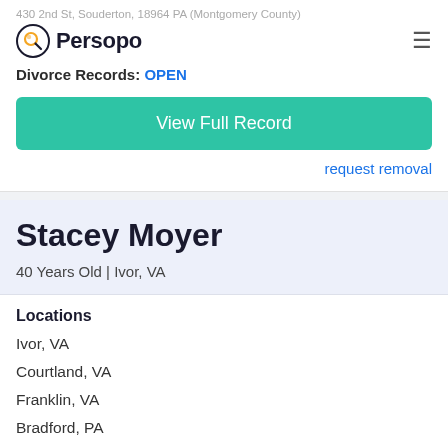430 2nd St, Souderton, 18964 PA (Montgomery County)
[Figure (logo): Persopo logo with magnifying glass icon and hamburger menu]
Divorce Records: OPEN
View Full Record
request removal
Stacey Moyer
40 Years Old | Ivor, VA
Locations
Ivor, VA
Courtland, VA
Franklin, VA
Bradford, PA
View More
Phone Number  1